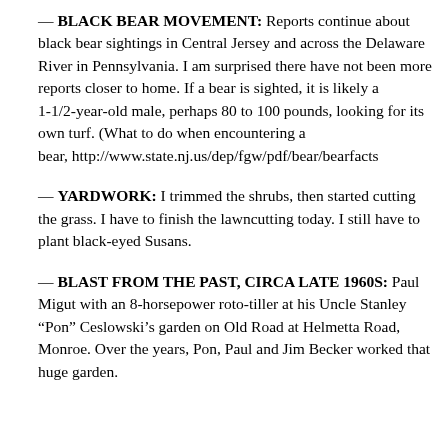— BLACK BEAR MOVEMENT: Reports continue about black bear sightings in Central Jersey and across the Delaware River in Pennsylvania. I am surprised there have not been more reports closer to home. If a bear is sighted, it is likely a 1-1/2-year-old male, perhaps 80 to 100 pounds, looking for its own turf. (What to do when encountering a bear, http://www.state.nj.us/dep/fgw/pdf/bear/bearfacts
— YARDWORK: I trimmed the shrubs, then started cutting the grass. I have to finish the lawncutting today. I still have to plant black-eyed Susans.
— BLAST FROM THE PAST, CIRCA LATE 1960S: Paul Migut with an 8-horsepower roto-tiller at his Uncle Stanley “Pon” Ceslowski’s garden on Old Road at Helmetta Road, Monroe. Over the years, Pon, Paul and Jim Becker worked that huge garden.